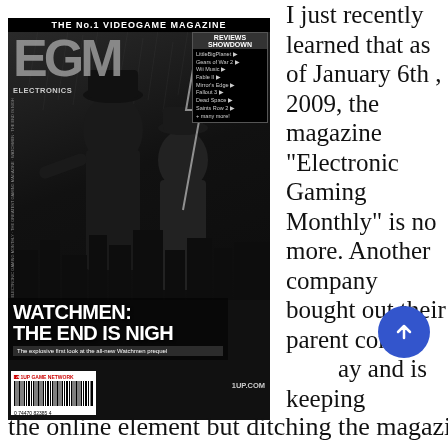[Figure (photo): Cover of EGM (Electronic Gaming Monthly) magazine, No.1 Videogame Magazine, December 2008 issue. Black and white cover featuring characters from Watchmen: The End Is Nigh game. Shows two figures in dark coats and hats in a rainy city scene. Large bold text reads 'WATCHMEN: THE END IS NIGH'. Tagline: 'The explosive first look at the all-new Watchmen prequel'. Reviews Showdown box in top right corner listing: LittleBigPlanet, Gears of War 2, Wii Music, Fable II, Mirror's Edge, Fallout 3, Dead Space, Saints Row 2, and many more. EGM logo and 1UP.COM text visible. Barcode at bottom left.]
I just recently learned that as of January 6th , 2009, the magazine "Electronic Gaming Monthly" is no more. Another company bought out their parent company and is keeping the online element but ditching the magazine.